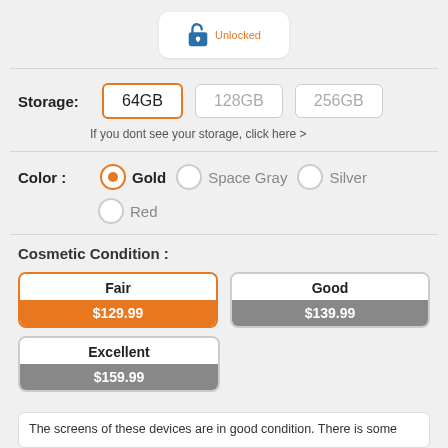[Figure (illustration): Lock icon with 'Unlocked' text in orange, inside a white rounded badge]
Storage:
64GB (selected, orange border), 128GB, 256GB
If you dont see your storage, click here >
Color :
Gold (selected, orange radio), Space Gray, Silver, Red
Cosmetic Condition :
Fair $129.99 (selected, orange border and orange price bar)
Good $139.99 (gray price bar)
Excellent $159.99 (gray price bar)
The screens of these devices are in good condition. There is some